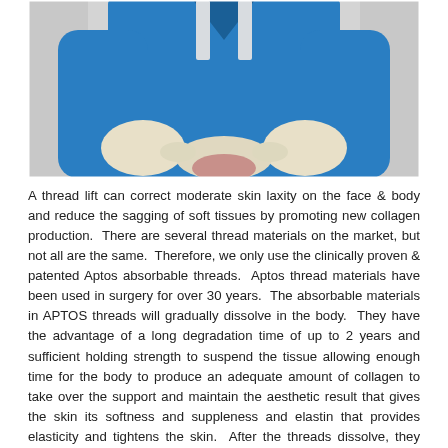[Figure (photo): A medical professional wearing blue scrubs and white latex gloves performing a thread lift procedure, working with hands on a patient's tissue against a light gray background.]
A thread lift can correct moderate skin laxity on the face & body and reduce the sagging of soft tissues by promoting new collagen production. There are several thread materials on the market, but not all are the same. Therefore, we only use the clinically proven & patented Aptos absorbable threads. Aptos thread materials have been used in surgery for over 30 years. The absorbable materials in APTOS threads will gradually dissolve in the body. They have the advantage of a long degradation time of up to 2 years and sufficient holding strength to suspend the tissue allowing enough time for the body to produce an adequate amount of collagen to take over the support and maintain the aesthetic result that gives the skin its softness and suppleness and elastin that provides elasticity and tightens the skin. After the threads dissolve, they leave behind a scaffold of new collagen and elastin to recondition the skin, and slow the process of